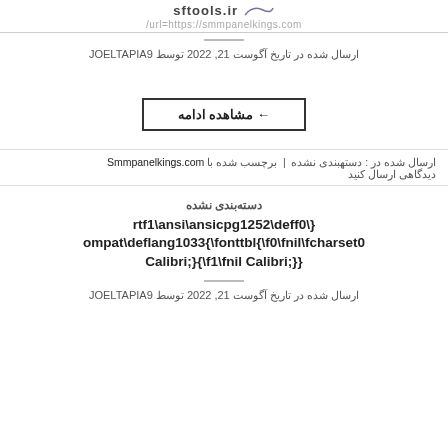sftools.ir /url=https://smmpanelkings.com
ارسال شده در تاریخ آگوست 21, 2022 توسط JOELTAPIA9
← مشاهده ادامه
ارسال شده در : دستهبندی نشده | برچسب شده با Smmpanelkings.com دیدگاهی ارسال کنید
دسته‌بندی نشده
rtf1\ansi\ansicpg1252\deff0\} ompat\deflang1033{\fonttbl{\f0\fnil\fcharset0 Calibri;}{\f1\fnil Calibri;}}
ارسال شده در تاریخ آگوست 21, 2022 توسط JOELTAPIA9